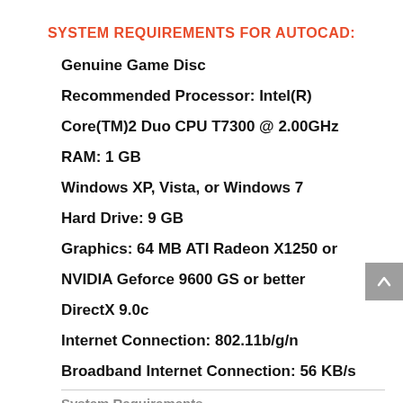SYSTEM REQUIREMENTS FOR AUTOCAD:
Genuine Game Disc
Recommended Processor: Intel(R)
Core(TM)2 Duo CPU T7300 @ 2.00GHz
RAM: 1 GB
Windows XP, Vista, or Windows 7
Hard Drive: 9 GB
Graphics: 64 MB ATI Radeon X1250 or
NVIDIA Geforce 9600 GS or better
DirectX 9.0c
Internet Connection: 802.11b/g/n
Broadband Internet Connection: 56 KB/s
System Requirements